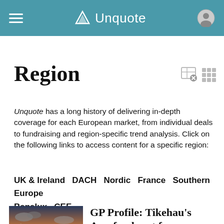Unquote
Region
Unquote has a long history of delivering in-depth coverage for each European market, from individual deals to fundraising and region-specific trend analysis. Click on the following links to access content for a specific region:
UK & Ireland   DACH   Nordic   France   Southern Europe   Benelux   CEE
[Figure (photo): Airplane on tarmac at dusk with dramatic cloudy sky]
GP Profile: Tikehau's Aerofondo set for aerospace industry take-off after first deal from debut fund